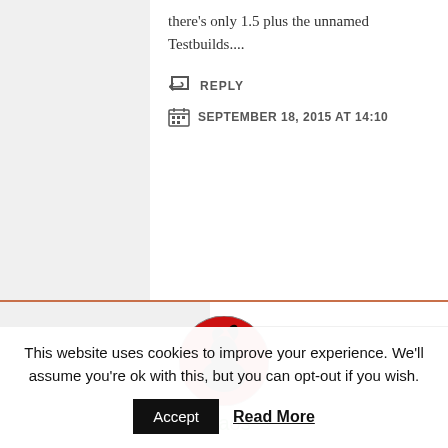there's only 1.5 plus the unnamed Testbuilds....
↩ REPLY
SEPTEMBER 18, 2015 AT 14:10
[Figure (photo): Round avatar image with red background showing a dark silhouette figure]
chaos
It's probably from ClassicWB, I don't think I installed any other version, since I don't use it. ClassicWB is probably v28 (full).
This website uses cookies to improve your experience. We'll assume you're ok with this, but you can opt-out if you wish.
Accept  Read More